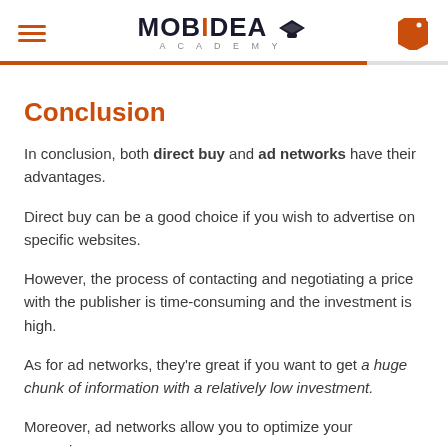MOBIDEA ACADEMY
Conclusion
In conclusion, both direct buy and ad networks have their advantages.
Direct buy can be a good choice if you wish to advertise on specific websites.
However, the process of contacting and negotiating a price with the publisher is time-consuming and the investment is high.
As for ad networks, they’re great if you want to get a huge chunk of information with a relatively low investment.
Moreover, ad networks allow you to optimize your campaigns